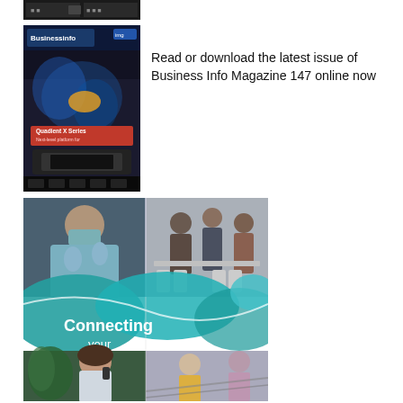[Figure (screenshot): Small dark screenshot of a device or interface at the top of the page]
[Figure (photo): Cover of Business Info Magazine 147 showing 'Quadient X Series' product with 'Businessinfo' branding on a dark background]
Read or download the latest issue of Business Info Magazine 147 online now
[Figure (photo): Large composite image with 'Connecting your Business' text overlay, showing a masked healthcare worker, business people in a meeting room, a smiling woman on phone, and blurred office/hallway scenes, with teal wave design elements]